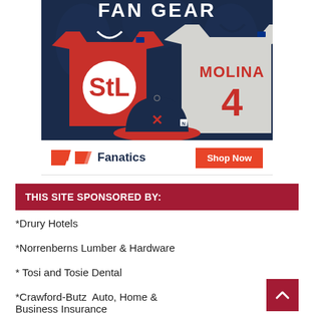[Figure (photo): St. Louis Cardinals fan gear advertisement showing a red STL t-shirt, a gray Molina #4 jersey, and a navy Cardinals cap on a dark blue background with 'FAN GEAR' text at top]
[Figure (logo): Fanatics logo with red chevron icon and 'Fanatics' text in dark blue, alongside an orange 'Shop Now' button]
THIS SITE SPONSORED BY:
*Drury Hotels
*Norrenberns Lumber & Hardware
* Tosi and Tosie Dental
*Crawford-Butz  Auto, Home & Business Insurance